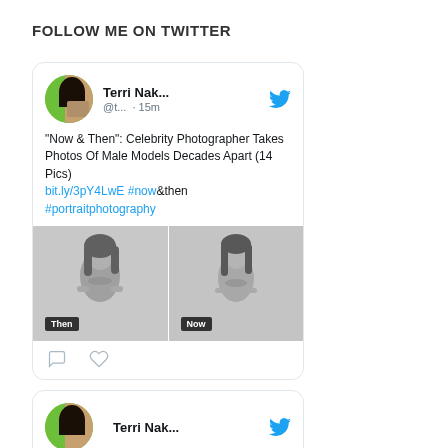FOLLOW ME ON TWITTER
Terri Nak... @t... · 15m
“Now & Then”: Celebrity Photographer Takes Photos Of Male Models Decades Apart (14 Pics) bit.ly/3pY4LwE #now&then #portraitphotography
[Figure (photo): Black and white side-by-side photos of a male model labeled 'Then' and 'Now']
Terri Nak...